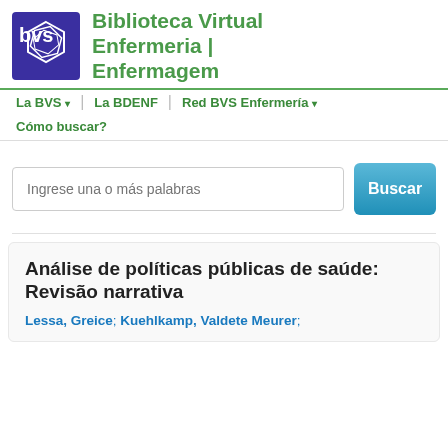[Figure (logo): BVS logo — purple square with white hexagon outline and 'bvs' text]
Biblioteca Virtual Enfermeria | Enfermagem
La BVS ▾   La BDENF   Red BVS Enfermería ▾   Cómo buscar?
Ingrese una o más palabras
Buscar
Análise de políticas públicas de saúde: Revisão narrativa
Lessa, Greice; Kuehlkamp, Valdete Meurer;